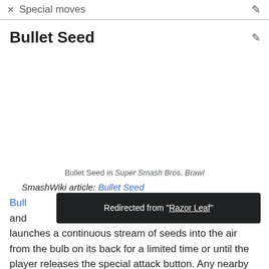Special moves
Bullet Seed
[Figure (photo): Empty image area for Bullet Seed in Super Smash Bros. Brawl]
Bullet Seed in Super Smash Bros. Brawl
SmashWiki article: Bullet Seed
Bullet Seed is Ivysaur's neutral special move and ... launches a continuous stream of seeds into the air from the bulb on its back for a limited time or until the player releases the special attack button. Any nearby opponents when the
Redirected from "Razor Leaf"